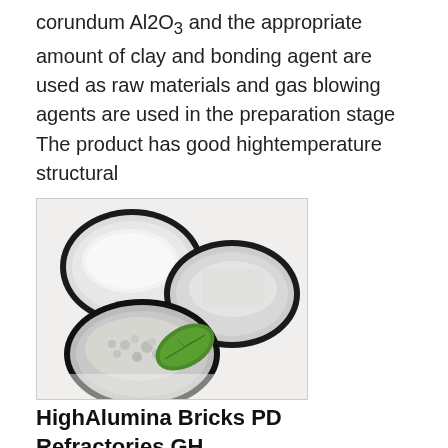corundum Al2O3 and the appropriate amount of clay and bonding agent are used as raw materials and gas blowing agents are used in the preparation stage The product has good hightemperature structural
[Figure (photo): Three black bowls/plates containing white granular and powder materials (corundum/alumina), with a green leaf placed in front, arranged on a white background.]
HighAlumina Bricks PD Refractories GH
HighAlumina Bricks PD Refractories manufactures highalumina bricks with an Al₂O₃ content range of 45 to about 99 and based on natural raw material sources and synthetic raw materials such as Fused alumina and sintered corundum Fused mullite and sintered mullite These products are also offered in